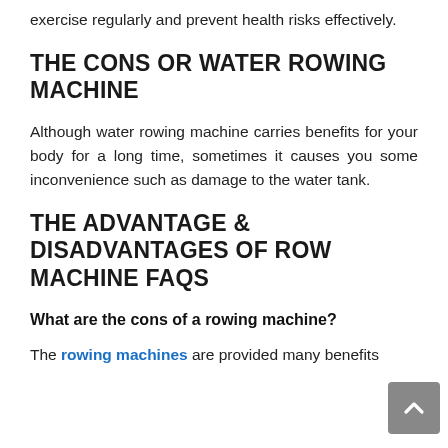exercise regularly and prevent health risks effectively.
THE CONS OR WATER ROWING MACHINE
Although water rowing machine carries benefits for your body for a long time, sometimes it causes you some inconvenience such as damage to the water tank.
THE ADVANTAGE & DISADVANTAGES OF ROW MACHINE FAQS
What are the cons of a rowing machine?
The rowing machines are provided many benefits